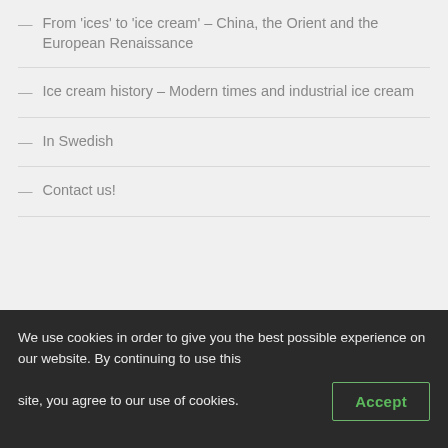— From 'ices' to 'ice cream' – China, the Orient and the European Renaissance
— Ice cream history – Modern times and industrial ice cream
— In Swedish
— Contact us!
ARCHIVES
Select Month
We use cookies in order to give you the best possible experience on our website. By continuing to use this site, you agree to our use of cookies.
Accept